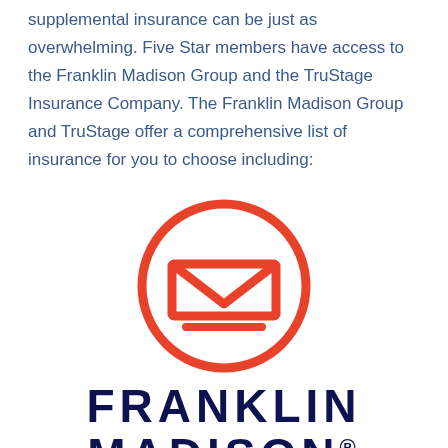supplemental insurance can be just as overwhelming. Five Star members have access to the Franklin Madison Group and the TruStage Insurance Company. The Franklin Madison Group and TruStage offer a comprehensive list of insurance for you to choose including:
[Figure (logo): Franklin Madison logo: a stylized M/envelope icon inside a red circle outline, with 'FRANKLIN MADISON' in bold dark navy text below]